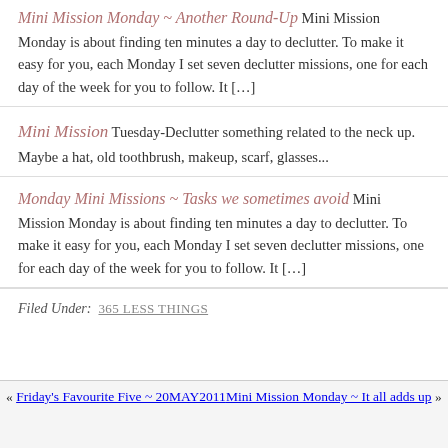Mini Mission Monday ~ Another Round-Up Mini Mission Monday is about finding ten minutes a day to declutter. To make it easy for you, each Monday I set seven declutter missions, one for each day of the week for you to follow. It […]
Mini Mission Tuesday-Declutter something related to the neck up. Maybe a hat, old toothbrush, makeup, scarf, glasses...
Monday Mini Missions ~ Tasks we sometimes avoid Mini Mission Monday is about finding ten minutes a day to declutter. To make it easy for you, each Monday I set seven declutter missions, one for each day of the week for you to follow. It […]
Filed Under: 365 LESS THINGS
« Friday's Favourite Five ~ 20MAY2011 Mini Mission Monday ~ It all adds up »